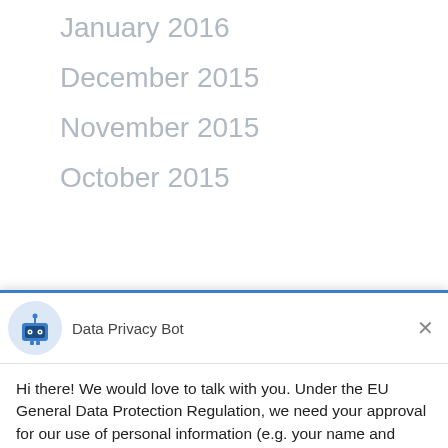January 2016
December 2015
November 2015
October 2015
[Figure (screenshot): Data Privacy Bot chat widget with robot avatar, header bar, GDPR consent message, Yes/I Accept and No/Not Now buttons, and Drift branding footer]
Data Privacy Bot
Hi there! We would love to talk with you. Under the EU General Data Protection Regulation, we need your approval for our use of personal information (e.g. your name and email address) you may provide as we communicate:
(1) We'll store your personal information so that we can pick up the conversation if we talk later.
(2) We may send you emails to follow up on our discussion here.
Yes, I Accept
No, Not Now
Chat ⚡ by Drift